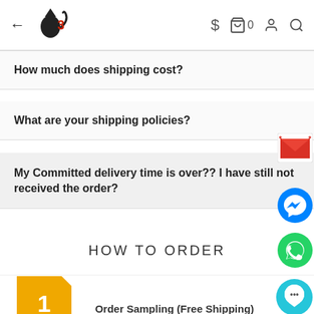← [logo] $ 🛍 0 👤 🔍
How much does shipping cost?
What are your shipping policies?
My Committed delivery time is over?? I have still not received the order?
HOW TO ORDER
1
Order Sampling (Free Shipping)